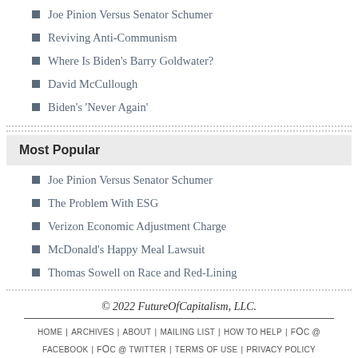Joe Pinion Versus Senator Schumer
Reviving Anti-Communism
Where Is Biden's Barry Goldwater?
David McCullough
Biden's 'Never Again'
Most Popular
Joe Pinion Versus Senator Schumer
The Problem With ESG
Verizon Economic Adjustment Charge
McDonald's Happy Meal Lawsuit
Thomas Sowell on Race and Red-Lining
© 2022 FutureOfCapitalism, LLC.
HOME | ARCHIVES | ABOUT | MAILING LIST | HOW TO HELP | FoC @ FACEBOOK | FoC @ TWITTER | TERMS OF USE | PRIVACY POLICY | NEWS TRANSPARENCY | SMARTERTIMES